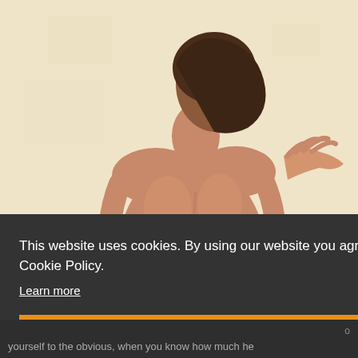[Figure (photo): Two people embracing, shown from behind against a light beige/cream textured wall background. One person's hands are visible on the other's back.]
This website uses cookies. By using our website you agree to our Cookie Policy.
Learn more
Agreed
yourself to the obvious, when you know how much he